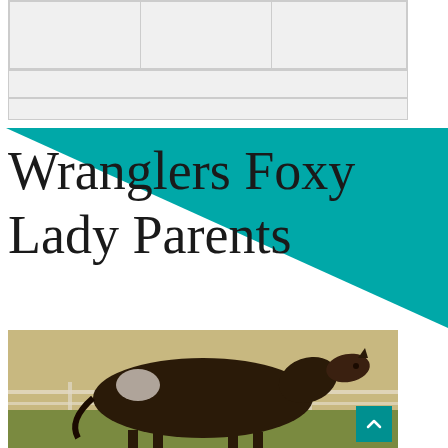|  |  |  |
|  |  |
|  |  |
Wranglers Foxy Lady Parents
[Figure (photo): A dark bay horse standing in a field with a white fence in the background. The horse has some white markings on its rump.]